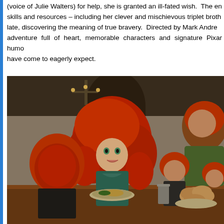(voice of Julie Walters) for help, she is granted an ill-fated wish.  The en skills and resources – including her clever and mischievous triplet broth late, discovering the meaning of true bravery.  Directed by Mark Andre adventure full of heart, memorable characters and signature Pixar humo have come to eagerly expect.
[Figure (photo): A still from Pixar's Brave animated film showing Merida (center, with large curly red hair) at a dining table with her triplet brothers and father (King Fergus) in a stone castle setting. The characters have distinctive red hair. A plate of food and a mug are visible on the wooden table.]